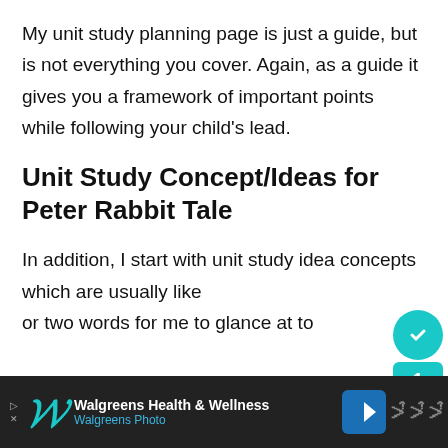My unit study planning page is just a guide, but is not everything you cover. Again, as a guide it gives you a framework of important points while following your child's lead.
Unit Study Concept/Ideas for Peter Rabbit Tale
In addition, I start with unit study idea concepts which are usually like or two words for me to glance at to
[Figure (other): Teal social share widget with a checkmark circle on top, number 1 in a box, and a teal circle on the bottom]
[Figure (other): 5 Days of Learning popup widget with purple circular thumbnail and blue background]
[Figure (other): Walgreens Health & Wellness advertisement bar at the bottom with W logo, blue navigation icon, and mute icon on dark background]